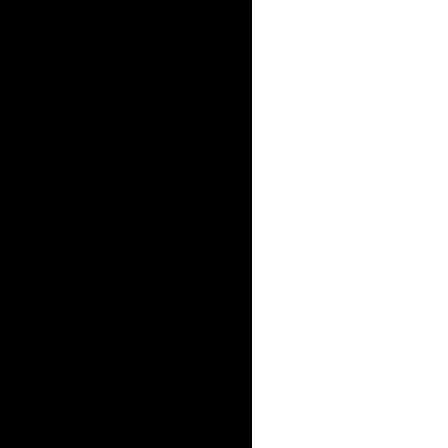[Figure (photo): Partial view of iPhone X side profile (silver stainless steel frame with buttons) against a white background with a yellow bar on the right edge]
Stylistically it looks crazy stupid. Then there's the fact that THERE'S A NOTCH FULL-SCREEN, FROM PHOT unsure what to do with it half th is actually preferable to having black bar at the top and a phon end.
SOUND
The iPhone X has darn good s